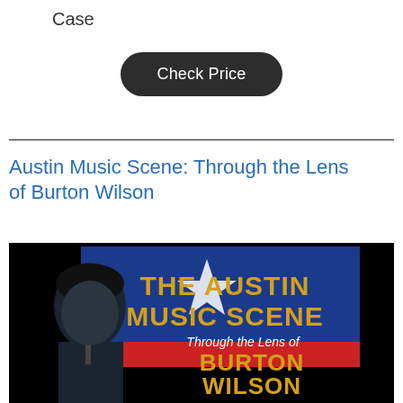Case
Check Price
Austin Music Scene: Through the Lens of Burton Wilson
[Figure (photo): Book cover showing 'The Austin Music Scene Through the Lens of Burton Wilson' with a man at a microphone against a Texas flag background with gold lettering.]